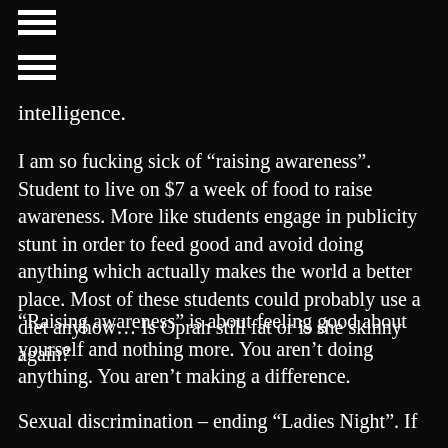[Figure (other): Hamburger/menu icon (three horizontal lines) at top left]
[Figure (other): Hamburger/menu icon (three horizontal lines) below first icon]
intelligence.
I am so fucking sick of “raising awareness”. Student to live on $7 a week of food to raise awareness. More like students engage in publicity stunt in order to feed good and avoid doing anything which actually makes the world a better place. Most of these students could probably use a diet anyhow… Is Oprah still fat or is she skinny again?
“Raising awareness” is about feeling good about yourself and nothing more. You aren’t doing anything. You aren’t making a difference.
Sexual discrimination – ending “Ladies Night”. If